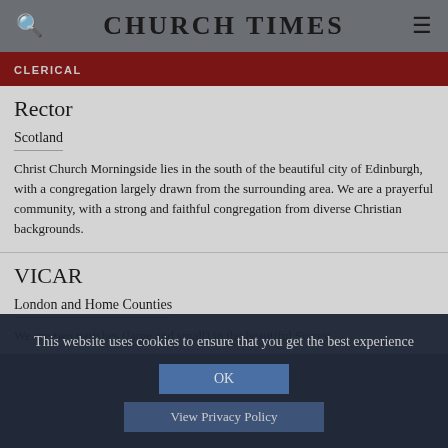CHURCH TIMES
CLERICAL
Rector
Scotland
Christ Church Morningside lies in the south of the beautiful city of Edinburgh, with a congregation largely drawn from the surrounding area. We are a prayerful community, with a strong and faithful congregation from diverse Christian backgrounds.
VICAR
London and Home Counties
We are two parishes (large and small) in the beautiful Surrey
This website uses cookies to ensure that you get the best experience
OK
View Privacy Policy